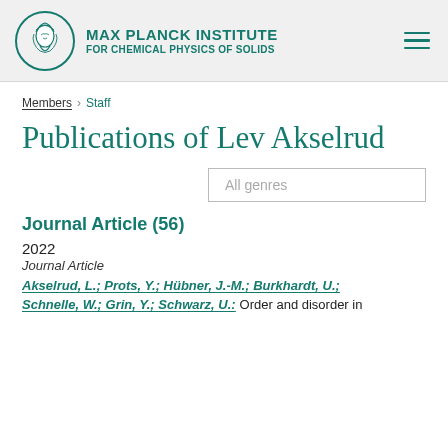MAX PLANCK INSTITUTE FOR CHEMICAL PHYSICS OF SOLIDS
Members › Staff
Publications of Lev Akselrud
All genres
Journal Article (56)
2022
Journal Article
Akselrud, L.; Prots, Y.; Hübner, J.-M.; Burkhardt, U.; Schnelle, W.; Grin, Y.; Schwarz, U.: Order and disorder in...